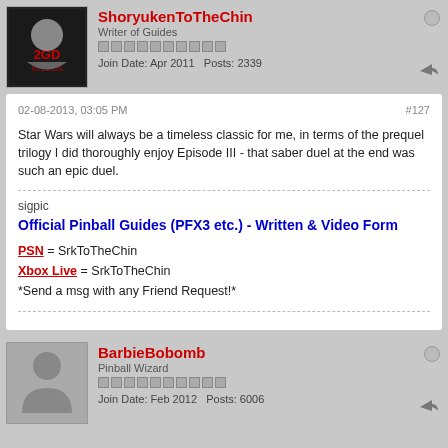ShoryukenToTheChin
Writer of Guides
Join Date: Apr 2011   Posts: 2339
02-08-2013, 03:05 PM
#127
Star Wars will always be a timeless classic for me, in terms of the prequel trilogy I did thoroughly enjoy Episode III - that saber duel at the end was such an epic duel.
sigpic
Official Pinball Guides (PFX3 etc.) - Written & Video Form
PSN = SrkToTheChin
Xbox Live = SrkToTheChin
*Send a msg with any Friend Request!*
BarbieBobomb
Pinball Wizard
Join Date: Feb 2012   Posts: 6006